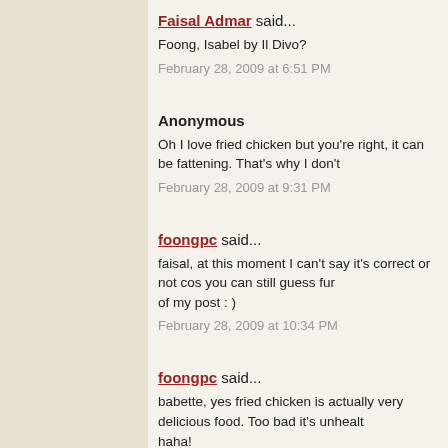Faisal Admar said... Foong, Isabel by Il Divo? February 28, 2009 at 6:51 PM
Anonymous Oh I love fried chicken but you're right, it can be fattening. That's why I don't February 28, 2009 at 9:31 PM
foongpc said... faisal, at this moment I can't say it's correct or not cos you can still guess further in my next parts of my post : ) February 28, 2009 at 10:34 PM
foongpc said... babette, yes fried chicken is actually very delicious food. Too bad it's unhealthy haha! February 28, 2009 at 10:36 PM
Nick Phillips said... I love KFC, so I'll try to win the voucher but unfortunately I'm bad at guessing March 1, 2009 at 12:29 AM